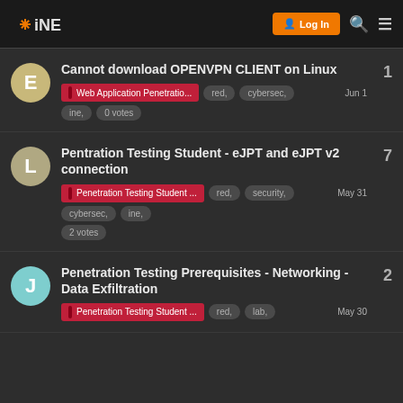INE — Log In
Cannot download OPENVPN CLIENT on Linux | Web Application Penetratio... | red, cybersec, Jun 1 | ine, 0 votes | replies: 1
Pentration Testing Student - eJPT and eJPT v2 connection | Penetration Testing Student ... | red, security, May 31 | cybersec, ine, | 2 votes | replies: 7
Penetration Testing Prerequisites - Networking - Data Exfiltration | Penetration Testing Student ... | red, lab, May 30 | replies: 2